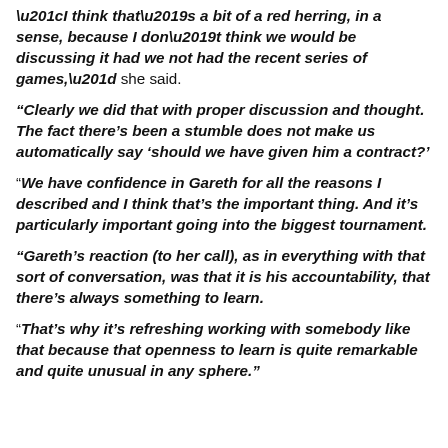“I think that’s a bit of a red herring, in a sense, because I don’t think we would be discussing it had we not had the recent series of games,” she said.
“Clearly we did that with proper discussion and thought. The fact there’s been a stumble does not make us automatically say ‘should we have given him a contract?’
“We have confidence in Gareth for all the reasons I described and I think that’s the important thing. And it’s particularly important going into the biggest tournament.
“Gareth’s reaction (to her call), as in everything with that sort of conversation, was that it is his accountability, that there’s always something to learn.
“That’s why it’s refreshing working with somebody like that because that openness to learn is quite remarkable and quite unusual in any sphere.”